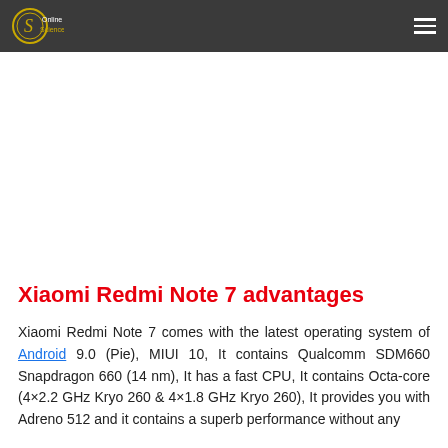Online Sciences
Xiaomi Redmi Note 7 advantages
Xiaomi Redmi Note 7 comes with the latest operating system of Android 9.0 (Pie), MIUI 10, It contains Qualcomm SDM660 Snapdragon 660 (14 nm), It has a fast CPU, It contains Octa-core (4×2.2 GHz Kryo 260 & 4×1.8 GHz Kryo 260), It provides you with Adreno 512 and it contains a superb performance without any